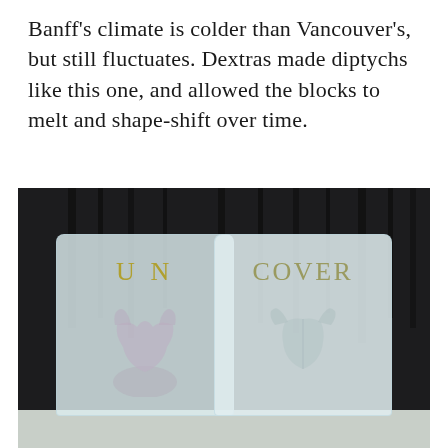Banff's climate is colder than Vancouver's, but still fluctuates. Dextras made diptychs like this one, and allowed the blocks to melt and shape-shift over time.
[Figure (photo): Photograph of two translucent ice blocks set outdoors in a snowy, forested setting. The left block has the text 'UN' in gold/olive letters, with a garment silhouette visible inside. The right block has the text 'COVER' in similar letters, with a garment silhouette inside. Dark trees and snow are visible in the background.]